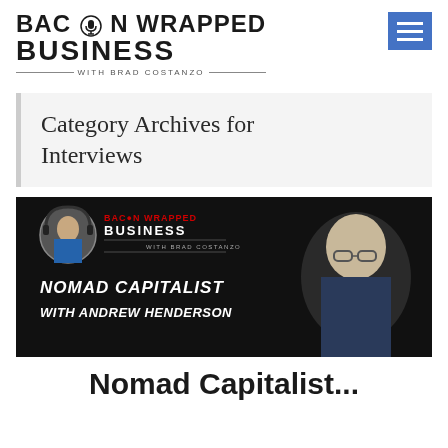[Figure (logo): Bacon Wrapped Business with Brad Costanzo logo with microphone icon, and hamburger menu icon in blue]
Category Archives for Interviews
[Figure (photo): Bacon Wrapped Business podcast episode thumbnail for 'Nomad Capitalist with Andrew Henderson', dark background with red/white brand logo, host photo circle, and guest photo of Andrew Henderson]
Nomad Capitalist...